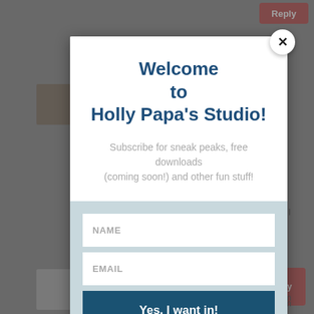[Figure (screenshot): Background showing a webpage with user comments, avatar images, and red reply buttons, with a gray overlay.]
Welcome
to
Holly Papa's Studio!
Subscribe for sneak peaks, free downloads (coming soon!) and other fun stuff!
NAME
EMAIL
Yes, I want in!
L. Owen on October 24, 2009 at 8:05 pm